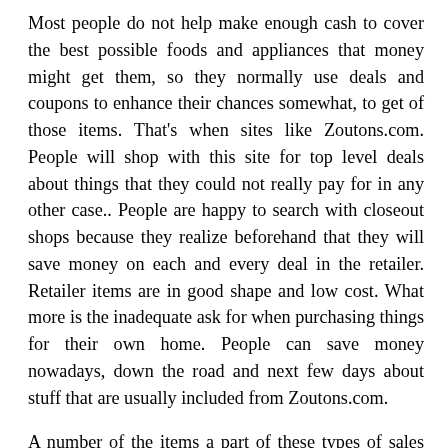Most people do not help make enough cash to cover the best possible foods and appliances that money might get them, so they normally use deals and coupons to enhance their chances somewhat, to get of those items. That's when sites like Zoutons.com. People will shop with this site for top level deals about things that they could not really pay for in any other case.. People are happy to search with closeout shops because they realize beforehand that they will save money on each and every deal in the retailer. Retailer items are in good shape and low cost. What more is the inadequate ask for when purchasing things for their own home. People can save money nowadays, down the road and next few days about stuff that are usually included from Zoutons.com.
A number of the items a part of these types of sales will probably be family cleansers, furnishings, hair care Goods, bins, racks, business office furnishings, and also other things that didn't sell along with the anticipated It might. Now several consumers might think that closeout products are